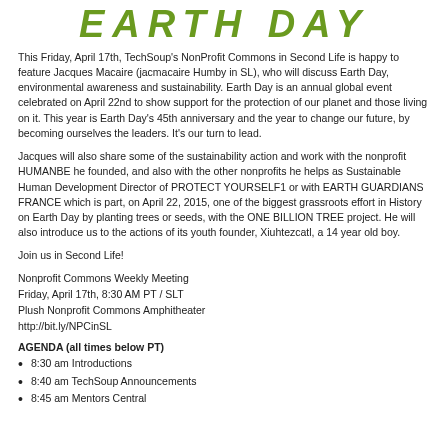EARTH DAY
This Friday, April 17th, TechSoup's NonProfit Commons in Second Life is happy to feature Jacques Macaire (jacmacaire Humby in SL), who will discuss Earth Day, environmental awareness and sustainability. Earth Day is an annual global event celebrated on April 22nd to show support for the protection of our planet and those living on it. This year is Earth Day's 45th anniversary and the year to change our future, by becoming ourselves the leaders. It's our turn to lead.
Jacques will also share some of the sustainability action and work with the nonprofit HUMANBE he founded, and also with the other nonprofits he helps as Sustainable Human Development Director of PROTECT YOURSELF1 or with EARTH GUARDIANS FRANCE which is part, on April 22, 2015, one of the biggest grassroots effort in History on Earth Day by planting trees or seeds, with the ONE BILLION TREE project. He will also introduce us to the actions of its youth founder, Xiuhtezcatl, a 14 year old boy.
Join us in Second Life!
Nonprofit Commons Weekly Meeting
Friday, April 17th, 8:30 AM PT / SLT
Plush Nonprofit Commons Amphitheater
http://bit.ly/NPCinSL
AGENDA (all times below PT)
8:30 am Introductions
8:40 am TechSoup Announcements
8:45 am Mentors Central